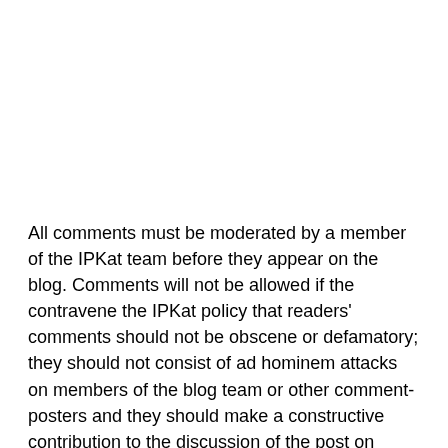All comments must be moderated by a member of the IPKat team before they appear on the blog. Comments will not be allowed if the contravene the IPKat policy that readers' comments should not be obscene or defamatory; they should not consist of ad hominem attacks on members of the blog team or other comment-posters and they should make a constructive contribution to the discussion of the post on which they purport to comment.
It is also the IPKat policy that comments should not be made completely anonymously, and users should use a consistent name or pseudonym (which should not itself be defamatory or obscene, or that of another real person).